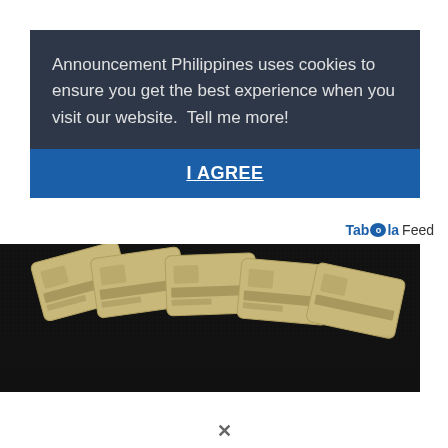Announcement Philippines uses cookies to ensure you get the best experience when you visit our website.  Tell me more!
I AGREE
Taboola Feed
[Figure (photo): Photo of several vintage or old credit/ID cards fanned out on a dark textured background]